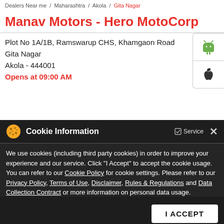Dealers Near me / Maharashtra / Akola / Gita Nagar
Manav Motors - Hero MotoCorp
Plot No 1A/1B, Ramswarup CHS, Khamgaon Road
Gita Nagar
Akola - 444001
Opens at 09:00 AM
Cookie Information
We use cookies (including third party cookies) in order to improve your experience and our service. Click "I Accept" to accept the cookie usage. You can refer to our Cookie Policy for cookie settings. Please refer to our Privacy Policy, Terms of Use, Disclaimer, Rules & Regulations and Data Collection Contract or more information on personal data usage.